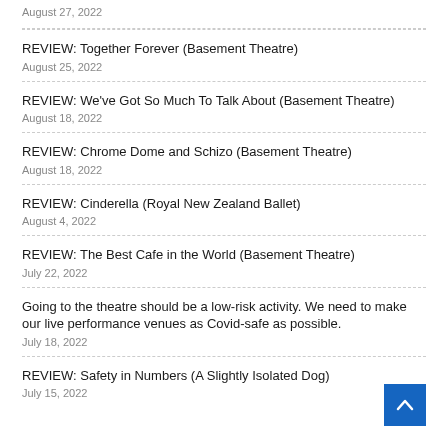August 27, 2022
REVIEW: Together Forever (Basement Theatre)
August 25, 2022
REVIEW: We've Got So Much To Talk About (Basement Theatre)
August 18, 2022
REVIEW: Chrome Dome and Schizo (Basement Theatre)
August 18, 2022
REVIEW: Cinderella (Royal New Zealand Ballet)
August 4, 2022
REVIEW: The Best Cafe in the World (Basement Theatre)
July 22, 2022
Going to the theatre should be a low-risk activity. We need to make our live performance venues as Covid-safe as possible.
July 18, 2022
REVIEW: Safety in Numbers (A Slightly Isolated Dog)
July 15, 2022